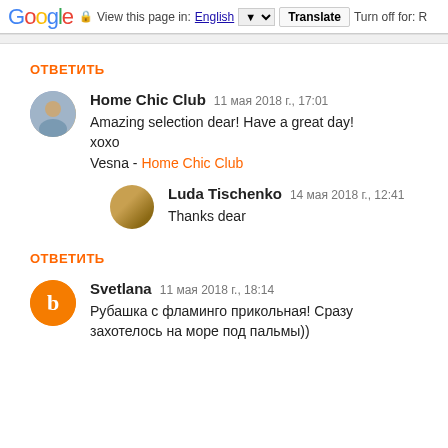Google  View this page in: English [▼]  Translate  Turn off for: R
ОТВЕТИТЬ
Home Chic Club  11 мая 2018 г., 17:01
Amazing selection dear! Have a great day!
xoxo
Vesna - Home Chic Club
Luda Tischenko  14 мая 2018 г., 12:41
Thanks dear
ОТВЕТИТЬ
Svetlana  11 мая 2018 г., 18:14
Рубашка с фламинго прикольная! Сразу захотелось на море под пальмы))